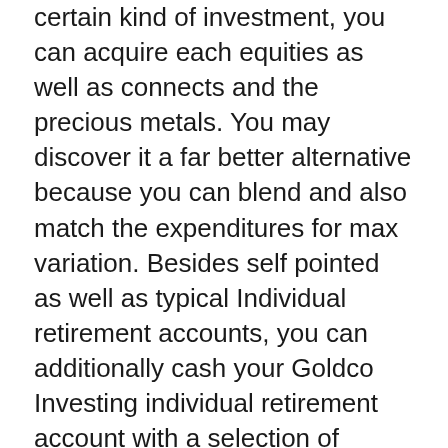certain kind of investment, you can acquire each equities as well as connects and the precious metals. You may discover it a far better alternative because you can blend and also match the expenditures for max variation. Besides self pointed as well as typical Individual retirement accounts, you can additionally cash your Goldco Investing individual retirement account with a selection of various other investment lorries featuring metal funds, money market accounts, enthusiasm gilt funds, and also certificate of deposit funds.
The firm likewise delivers a variety of pliable options, consisting of options for direct investing, stock exchange trading, rare-earth elements for stock funds, gold funds, as well as many other qualities. With stockholders